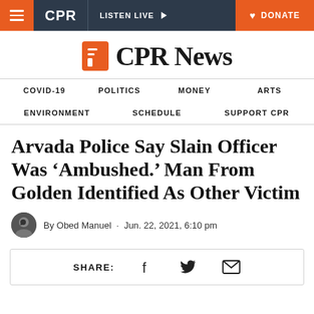CPR | LISTEN LIVE | DONATE
[Figure (logo): CPR News logo with orange speech bubble icon and bold serif text 'CPR News']
COVID-19 | POLITICS | MONEY | ARTS | ENVIRONMENT | SCHEDULE | SUPPORT CPR
Arvada Police Say Slain Officer Was ‘Ambushed.’ Man From Golden Identified As Other Victim
By Obed Manuel · Jun. 22, 2021, 6:10 pm
SHARE: